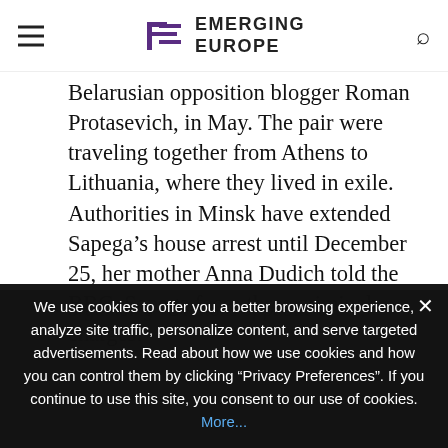EMERGING EUROPE
Belarusian opposition blogger Roman Protasevich, in May. The pair were traveling together from Athens to Lithuania, where they lived in exile. Authorities in Minsk have extended Sapega’s house arrest until December 25, her mother Anna Dudich told the BBC. Sapega faces three criminal charges:
organising violations of public order, each carrying a maximum sentence of three years...
The European Union’s General Court on Wednesday told Maksimalisty that the country’s security agency spied on the bloc’s diplomats and others. EU
We use cookies to offer you a better browsing experience, analyze site traffic, personalize content, and serve targeted advertisements. Read about how we use cookies and how you can control them by clicking "Privacy Preferences". If you continue to use this site, you consent to our use of cookies. More...